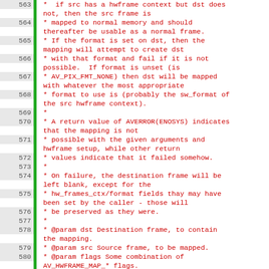[Figure (screenshot): Source code viewer showing lines 563-583 of a C header file documenting the av_hwframe_map function, with line numbers on the left, a green gutter bar, and red/green monospace code comments and function signature.]